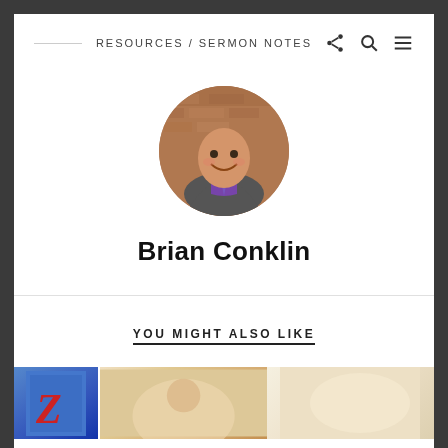RESOURCES / SERMON NOTES
[Figure (photo): Circular profile photo of Brian Conklin, a smiling man in a suit with a purple shirt, against a brick wall background]
Brian Conklin
YOU MIGHT ALSO LIKE
[Figure (photo): Three thumbnail images at the bottom of the page: a blue/red illustrated book cover with a Z letter, a warm-toned photo of a person, and a bright warm-toned photo]